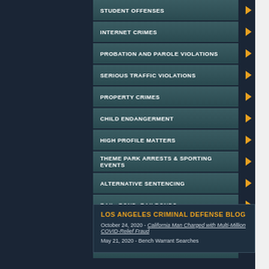STUDENT OFFENSES
INTERNET CRIMES
PROBATION AND PAROLE VIOLATIONS
SERIOUS TRAFFIC VIOLATIONS
PROPERTY CRIMES
CHILD ENDANGERMENT
HIGH PROFILE MATTERS
THEME PARK ARRESTS & SPORTING EVENTS
ALTERNATIVE SENTENCING
BAIL, BOND, BAILBONDS
SMUGGLING & BORDER ARRESTS
EN-ESPANOL
LOS ANGELES CRIMINAL DEFENSE BLOG
October 24, 2020 - California Man Charged with Multi-Million COVID-Relief Fraud
May 21, 2020 - Bench Warrant Searches